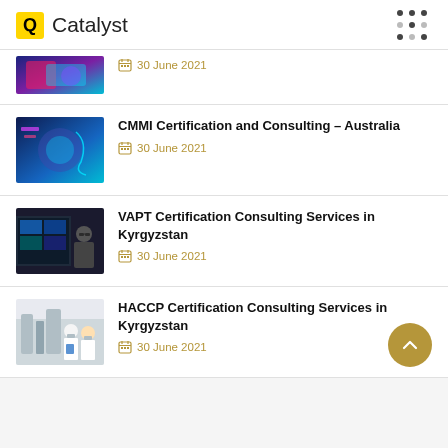Q Catalyst
30 June 2021
CMMI Certification and Consulting – Australia
30 June 2021
VAPT Certification Consulting Services in Kyrgyzstan
30 June 2021
HACCP Certification Consulting Services in Kyrgyzstan
30 June 2021